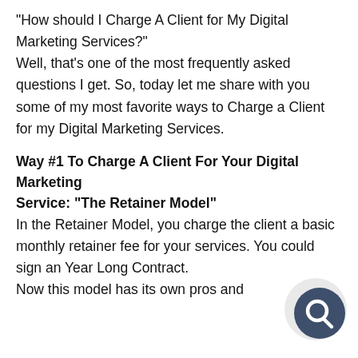“How should I Charge A Client for My Digital Marketing Services?” Well, that’s one of the most frequently asked questions I get. So, today let me share with you some of my most favorite ways to Charge a Client for my Digital Marketing Services.
Way #1 To Charge A Client For Your Digital Marketing Service: “The Retainer Model”
In the Retainer Model, you charge the client a basic monthly retainer fee for your services. You could sign an Year Long Contract.
Now this model has its own pros and